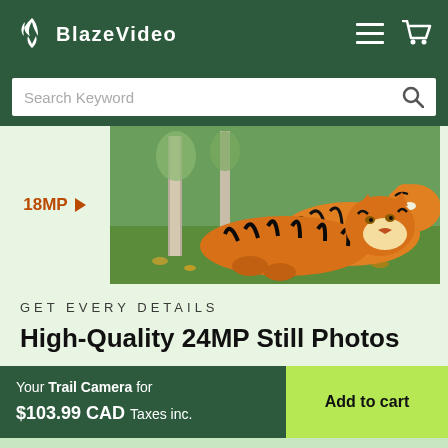BlazeVideo
Search Keyword
[Figure (photo): Two tigers resting on grass with trees in background, with 18MP label on left side]
GET EVERY DETAILS
High-Quality 24MP Still Photos
Your Trail Camera for $103.99 CAD Taxes inc. | Add to cart